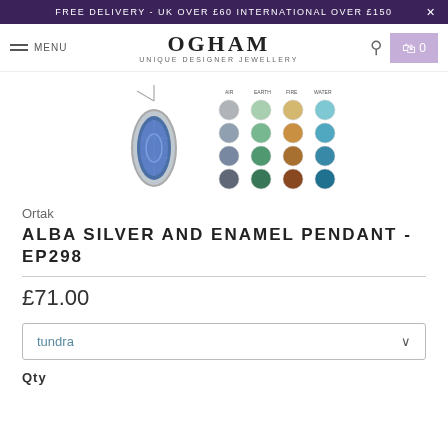FREE DELIVERY - UK OVER £60 INTERNATIONAL OVER £150  ×
[Figure (screenshot): E-commerce navigation bar with hamburger menu, OGHAM Unique Designer Jewellery logo, search icon and cart icon]
[Figure (photo): Alba Silver and Enamel Pendant EP298 shown as a marquise-shaped silver pendant with blue enamel, alongside a color swatch grid showing various enamel color options]
Ortak
ALBA SILVER AND ENAMEL PENDANT - EP298
£71.00
tundra
Qty